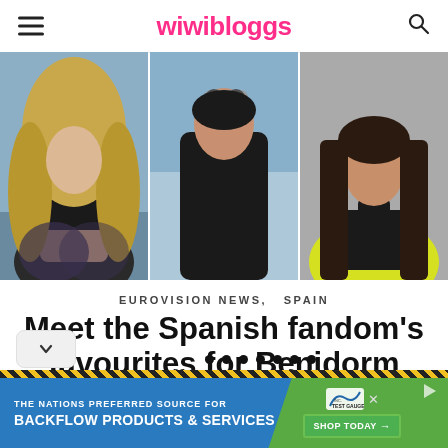wiwibloggs
[Figure (photo): Three photos of music artists side by side: a blonde woman in a black crop top outdoors, a person in black holding sunglasses against a blue sky, and a dark-haired woman in a black turtleneck with a yellow jacket]
EUROVISION NEWS,   SPAIN
Meet the Spanish fandom’s favourites for Benidorm Fest 2023
[Figure (other): Slideshow dot pagination indicators — 7 dots]
[Figure (other): Advertisement banner: THE NATIONS PREFERRED SOURCE FOR BACKFLOW PRODUCTS & SERVICES — SHOP TODAY with Test Gauge Inc. logo]